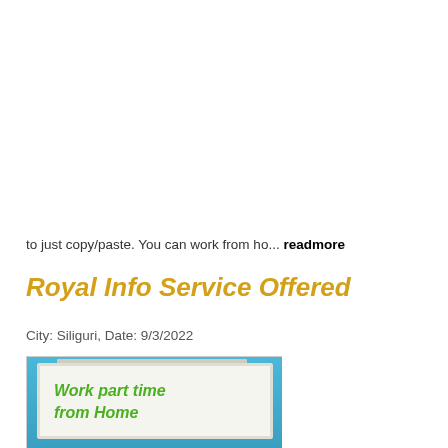to just copy/paste. You can work from ho... readmore
Royal Info Service Offered
City: Siliguri, Date: 9/3/2022
[Figure (photo): Billboard sign reading 'Work part time from Home' with green italic text on white background against blue sky]